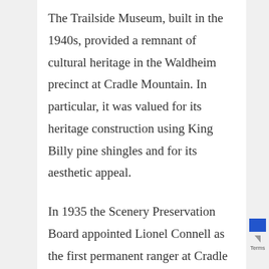The Trailside Museum, built in the 1940s, provided a remnant of cultural heritage in the Waldheim precinct at Cradle Mountain. In particular, it was valued for its heritage construction using King Billy pine shingles and for its aesthetic appeal.
In 1935 the Scenery Preservation Board appointed Lionel Connell as the first permanent ranger at Cradle Mountain. Connell was responsible for the construction of the Trailside Museum and several other buildings